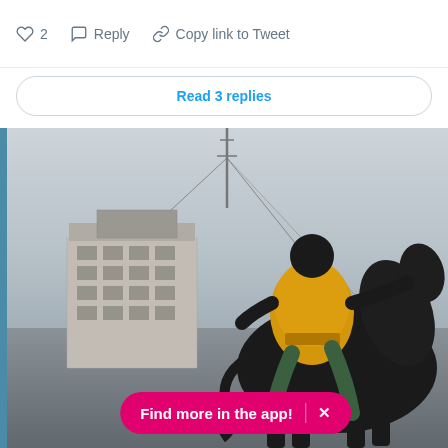♡ 2   Reply   Copy link to Tweet
Read 3 replies
[Figure (photo): Photo of a bronze equestrian statue with a yellow jacket/hoodie draped over the figure, mounted on a dark horse. Urban background with a beige multi-story building and overcast sky. A pink 'Find more in the app!' banner overlays the bottom of the image.]
Find more in the app!